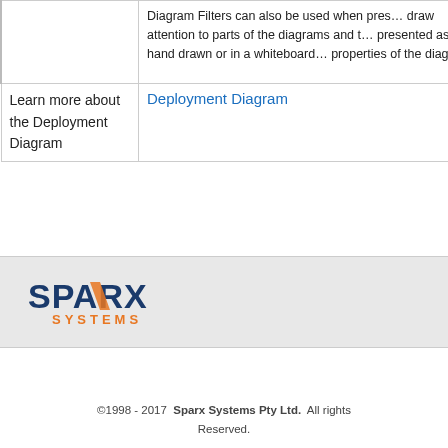|  | Diagram Filters can also be used when prese... draw attention to parts of the diagrams and t... presented as hand drawn or in a whiteboard... properties of the diagram. |
| Learn more about the Deployment Diagram | Deployment Diagram |
[Figure (logo): Sparx Systems logo — blue stylized text 'SPARX' with orange accent, and 'SYSTEMS' in orange below]
©1998 - 2017  Sparx Systems Pty Ltd.  All rights Reserved.